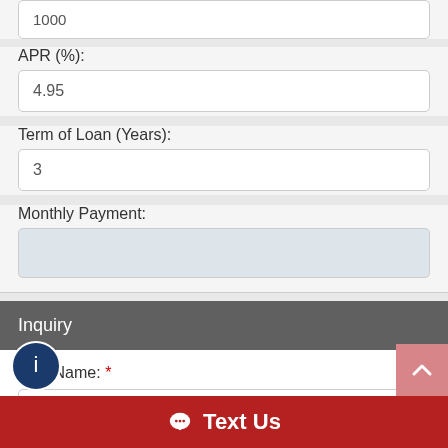1000
APR (%):
4.95
Term of Loan (Years):
3
Monthly Payment:
Inquiry
First Name: *
Text Us